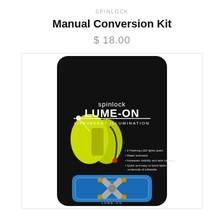SPINLOCK
Manual Conversion Kit
$ 18.00
[Figure (photo): Spinlock Lume-On Lifejacket Illumination product packaging. Black rounded rectangle packaging showing a yellow inflatable lifejacket with LED lights attached, and a blue tray at the bottom containing an X-shaped silver device with amber LED lights at each end. Text on packaging reads: spinlock LUME-ON LIFEJACKET ILLUMINATION with bullet points: 2 Flashing LED lights (pair), Water activated, Increases visibility and aids location, Quick and easy to bond lights on underside of inflatable.]